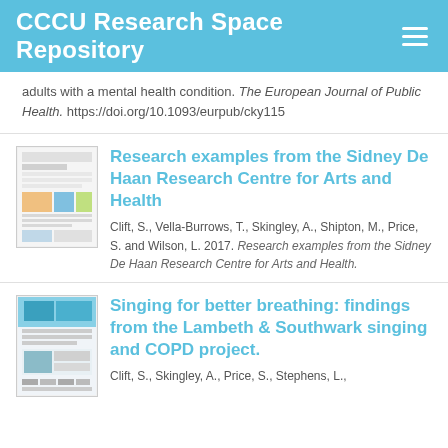CCCU Research Space Repository
adults with a mental health condition. The European Journal of Public Health. https://doi.org/10.1093/eurpub/cky115
Research examples from the Sidney De Haan Research Centre for Arts and Health
Clift, S., Vella-Burrows, T., Skingley, A., Shipton, M., Price, S. and Wilson, L. 2017. Research examples from the Sidney De Haan Research Centre for Arts and Health.
Singing for better breathing: findings from the Lambeth & Southwark singing and COPD project.
Clift, S., Skingley, A., Price, S., Stephens, L.,